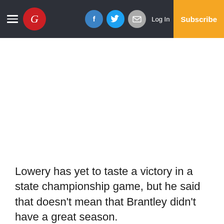The Greenville [G] newspaper header with hamburger menu, logo, Facebook, Twitter, Email social icons, Log In link, and Subscribe button
Lowery has yet to taste a victory in a state championship game, but he said that doesn't mean that Brantley didn't have a great season.